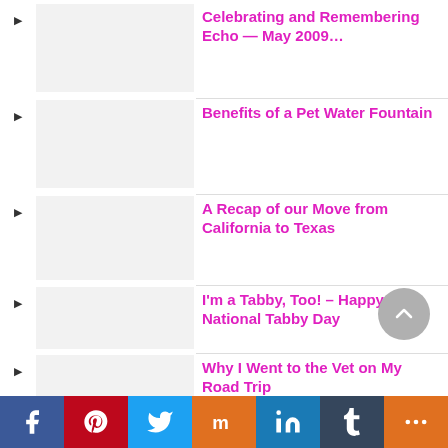Celebrating and Remembering Echo — May 2009…
Benefits of a Pet Water Fountain
A Recap of our Move from California to Texas
I'm a Tabby, Too! – Happy National Tabby Day
Why I Went to the Vet on My Road Trip
[Figure (infographic): Social sharing bar with Facebook, Pinterest, Twitter, Mix, LinkedIn, Tumblr, and More buttons]